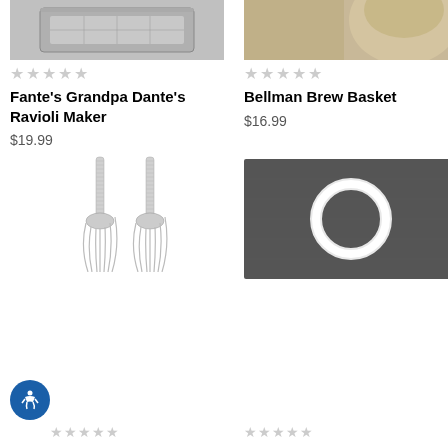[Figure (photo): Product photo of Fante's Grandpa Dante's Ravioli Maker, metallic/aluminum mold tray]
★★★★★
Fante's Grandpa Dante's Ravioli Maker
$19.99
[Figure (photo): Product photo of Bellman Brew Basket, close-up of beige/cream colored item]
★★★★★
Bellman Brew Basket
$16.99
[Figure (photo): Product photo showing two wire whisks side by side]
[Figure (photo): Product photo showing a white gasket/ring on dark gray fabric background]
★★★★★
★★★★★